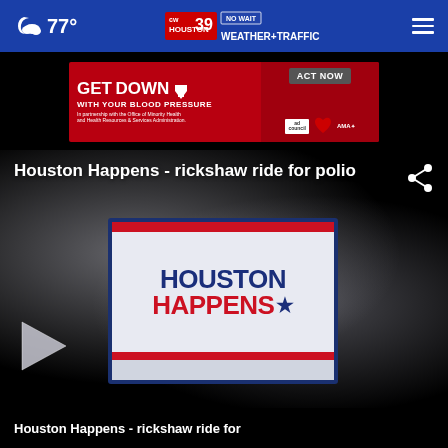☁ 77°   CW39 Houston NO WAIT WEATHER+TRAFFIC   ☰
[Figure (infographic): Advertisement banner: 'GET DOWN WITH YOUR BLOOD PRESSURE - ACT NOW' with ad council, American Heart Association, and AMA logos]
Houston Happens - rickshaw ride for polio
[Figure (screenshot): Video thumbnail showing 'HOUSTON HAPPENS' logo with navy blue and red text and star icon, with a play button overlay]
Houston Happens - rickshaw ride for